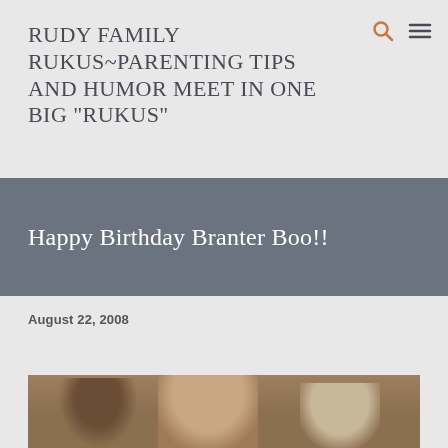RUDY FAMILY RUKUS~PARENTING TIPS AND HUMOR MEET IN ONE BIG "RUKUS"
Happy Birthday Branter Boo!!
August 22, 2008
[Figure (photo): Family photo showing three people seated on or near a brown couch/sofa. The image is partially cropped at the bottom of the page.]